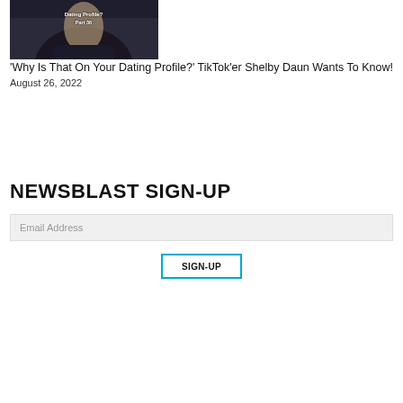[Figure (screenshot): TikTok video thumbnail showing a person with text overlay reading 'Dating Profile? Part 36' on a dark background]
'Why Is That On Your Dating Profile?' TikTok'er Shelby Daun Wants To Know! August 26, 2022
NEWSBLAST SIGN-UP
Email Address
SIGN-UP